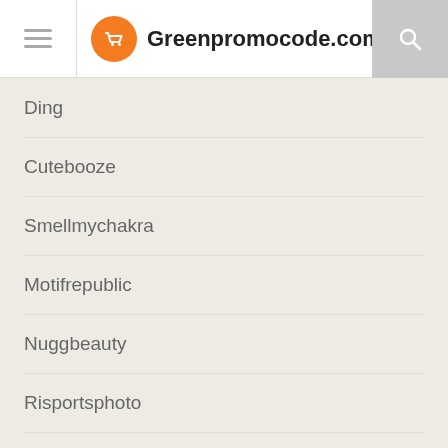Greenpromocode.com
Ding
Cutebooze
Smellmychakra
Motifrepublic
Nuggbeauty
Risportsphoto
North Platte River Fly Shop